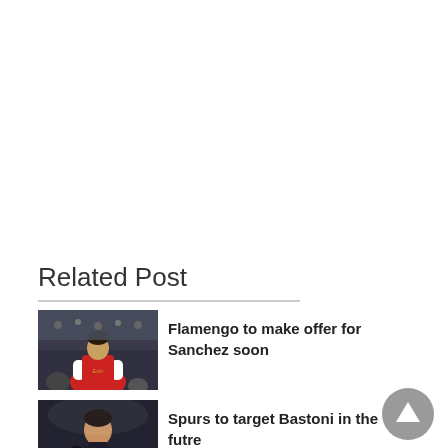Related Post
[Figure (photo): Football player in red Arsenal kit celebrating]
Flamengo to make offer for Sanchez soon
[Figure (photo): Football player in dark kit, close-up portrait]
Spurs to target Bastoni in the future